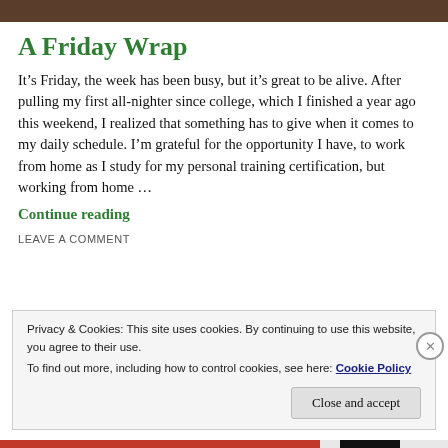[Figure (photo): Dark brown image strip at the top of the page]
A Friday Wrap
It’s Friday, the week has been busy, but it’s great to be alive. After pulling my first all-nighter since college, which I finished a year ago this weekend, I realized that something has to give when it comes to my daily schedule. I’m grateful for the opportunity I have, to work from home as I study for my personal training certification, but working from home …
Continue reading
LEAVE A COMMENT
Privacy & Cookies: This site uses cookies. By continuing to use this website, you agree to their use.
To find out more, including how to control cookies, see here: Cookie Policy
Close and accept